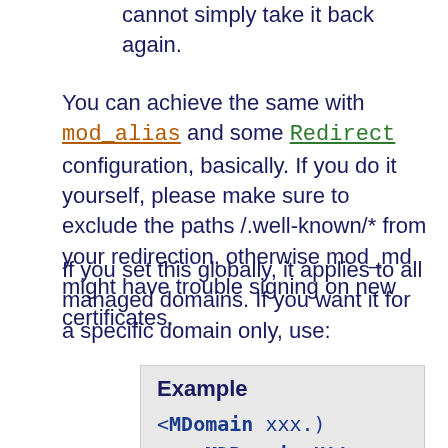cannot simply take it back again.
You can achieve the same with mod_alias and some Redirect configuration, basically. If you do it yourself, please make sure to exclude the paths /.well-known/* from your redirection, otherwise mod_md might have trouble signing on new certificates.
If you set this globally, it applies to all managed domains. If you want it for a specific domain only, use:
Example
<MDomain xxx.)
    MDRequireHtt
</MDomain>